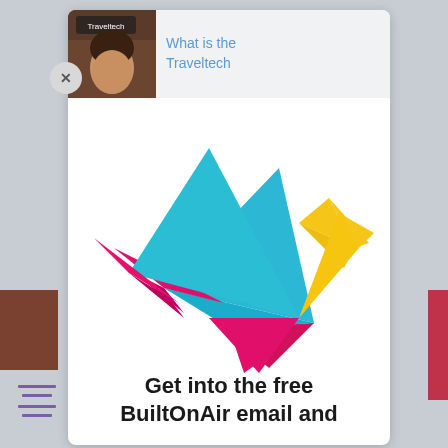[Figure (screenshot): Mobile app screenshot showing a popup modal overlay. The modal has a thumbnail image with 'Traveltech' text and a woman's photo at top, with title text 'What is the Traveltech'. Below is a colorful origami bird logo made of geometric shapes in cyan, magenta/pink, and yellow. At the bottom is bold text reading 'Get into the free BuiltOnAir email and'. A close (X) button appears at top-left of the modal. Left sidebar shows a partial photo and purple horizontal lines. Right sidebar shows red/pink vertical bars.]
What is the Traveltech
Get into the free BuiltOnAir email and